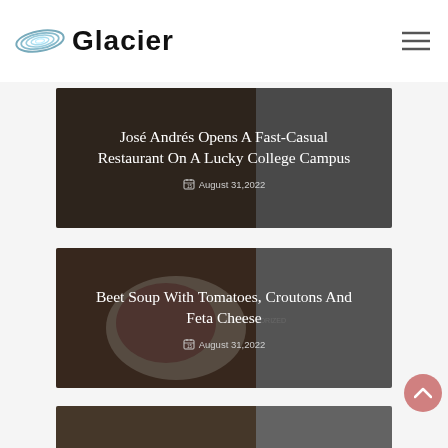Glacier
[Figure (photo): Dark food photo used as background for card 1 — José Andrés article]
José Andrés Opens A Fast-Casual Restaurant On A Lucky College Campus
August 31,2022
[Figure (photo): Food photo showing beet soup with tomatoes, croutons and feta cheese on a plate]
Beet Soup With Tomatoes, Croutons And Feta Cheese
August 31,2022
[Figure (photo): Partially visible food photo for the third card about making the perfect something (VIDEO)]
VIDEO: How To Make The Perfect